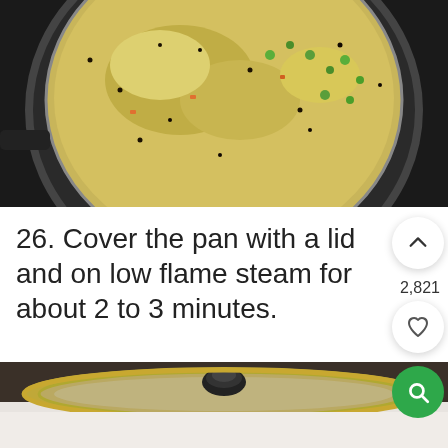[Figure (photo): A frying pan on a stove top containing a yellow-green batter or rava mixture with visible green peas, black mustard seeds, and other spices, cooking on a flame.]
26. Cover the pan with a lid and on low flame steam for about 2 to 3 minutes.
[Figure (photo): A frying pan covered with a glass lid with a black knob, showing a cooking dish underneath. A green circular search button is visible in the top right of the image.]